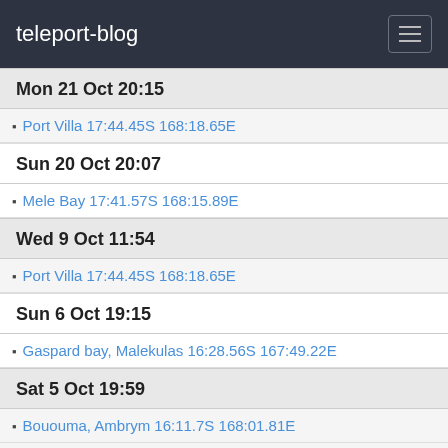teleport-blog
Mon 21 Oct 20:15
Port Villa 17:44.45S 168:18.65E
Sun 20 Oct 20:07
Mele Bay 17:41.57S 168:15.89E
Wed 9 Oct 11:54
Port Villa 17:44.45S 168:18.65E
Sun 6 Oct 19:15
Gaspard bay, Malekulas 16:28.56S 167:49.22E
Sat 5 Oct 19:59
Bououma, Ambrym 16:11.7S 168:01.81E
Homo Bay, Pangi Village, Pentecost 15:57.15S 168:11.54E
Wed 2 Oct 05:49
Waterfall Bay, Pentecost 15:47.15S 168:09.69E
Sep 2013
Thu 26 Sep 19:44